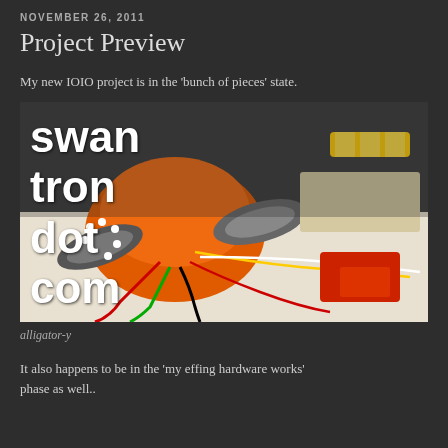NOVEMBER 26, 2011
Project Preview
My new IOIO project is in the 'bunch of pieces' state.
[Figure (photo): Photo of a robot project showing an orange wheeled robot with alligator clip wires connected to electronics on a workbench. White text overlay reads 'swantron dot com'.]
alligator-y
It also happens to be in the 'my effing hardware works' phase as well..